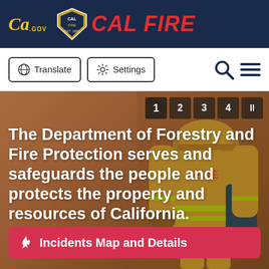CA.GOV | CAL FIRE
[Figure (screenshot): CAL FIRE website header with CA.gov logo and CAL FIRE branding on dark navy background]
[Figure (other): Navigation bar with Translate and Settings buttons, search and menu icons]
[Figure (photo): Hero image of firefighter in yellow gear from behind, with overlay text about Department of Forestry and Fire Protection, slide controls numbered 1-4 with pause button, and red Incidents Map and Details button]